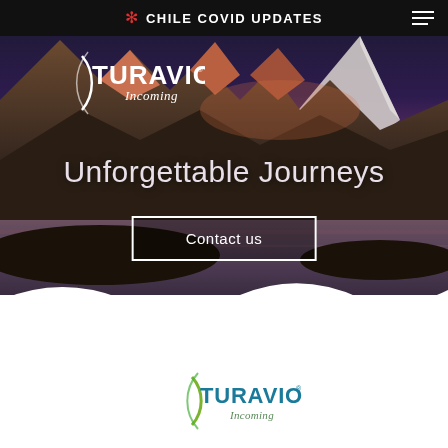CHILE COVID UPDATES
[Figure (photo): Mountain landscape with lake and dramatic purple-orange sunset sky (Torres del Paine, Patagonia, Chile). Turavion Incoming white logo in upper left. Text 'Unforgettable Journeys' overlaid. 'Contact us' button overlaid. Wave-shaped white mask at bottom.]
[Figure (logo): Turavion Incoming color logo (green arc, blue-green text) on white background]